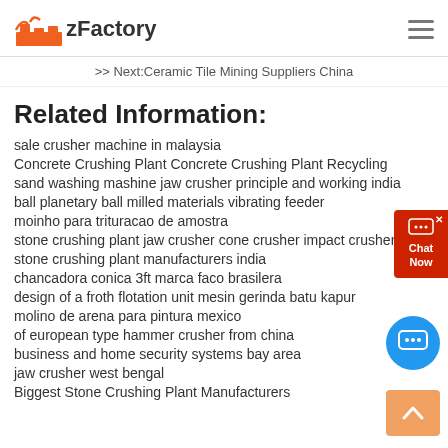zFactory
>> Next:Ceramic Tile Mining Suppliers China
Related Information:
sale crusher machine in malaysia
Concrete Crushing Plant Concrete Crushing Plant Recycling
sand washing mashine jaw crusher principle and working india
ball planetary ball milled materials vibrating feeder
moinho para trituracao de amostra
stone crushing plant jaw crusher cone crusher impact crusher
stone crushing plant manufacturers india
chancadora conica 3ft marca faco brasilera
design of a froth flotation unit mesin gerinda batu kapur
molino de arena para pintura mexico
of european type hammer crusher from china
business and home security systems bay area
jaw crusher west bengal
Biggest Stone Crushing Plant Manufacturers